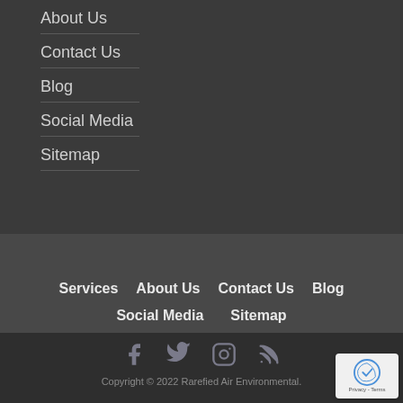About Us
Contact Us
Blog
Social Media
Sitemap
Services  About Us  Contact Us  Blog  Social Media  Sitemap
Copyright © 2022 Rarefied Air Environmental.